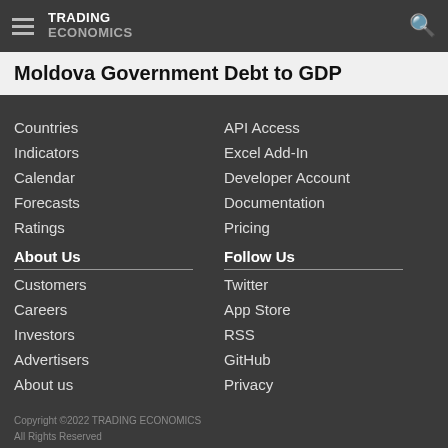TRADING ECONOMICS
Moldova Government Debt to GDP
Countries
API Access
Indicators
Excel Add-In
Calendar
Developer Account
Forecasts
Documentation
Ratings
Pricing
About Us
Follow Us
Customers
Twitter
Careers
App Store
Investors
RSS
Advertisers
GitHub
About us
Privacy
Copyright ©2022 TRADING ECONOMICS
All Rights Reserved